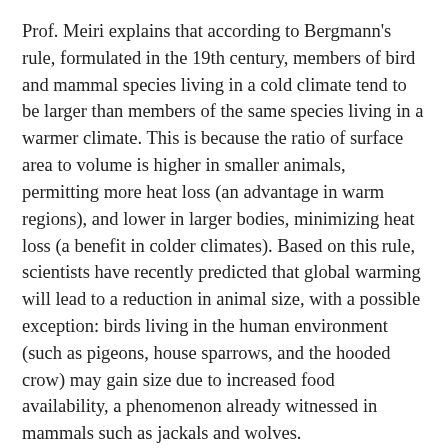Prof. Meiri explains that according to Bergmann's rule, formulated in the 19th century, members of bird and mammal species living in a cold climate tend to be larger than members of the same species living in a warmer climate. This is because the ratio of surface area to volume is higher in smaller animals, permitting more heat loss (an advantage in warm regions), and lower in larger bodies, minimizing heat loss (a benefit in colder climates). Based on this rule, scientists have recently predicted that global warming will lead to a reduction in animal size, with a possible exception: birds living in the human environment (such as pigeons, house sparrows, and the hooded crow) may gain size due to increased food availability, a phenomenon already witnessed in mammals such as jackals and wolves.